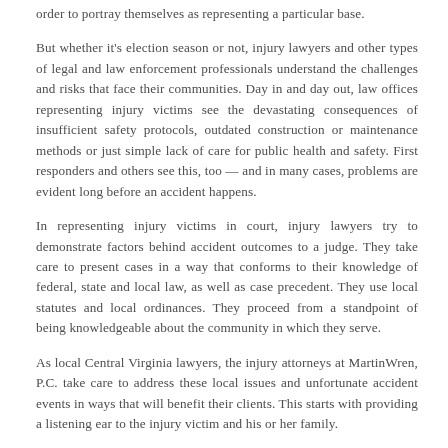order to portray themselves as representing a particular base.
But whether it's election season or not, injury lawyers and other types of legal and law enforcement professionals understand the challenges and risks that face their communities. Day in and day out, law offices representing injury victims see the devastating consequences of insufficient safety protocols, outdated construction or maintenance methods or just simple lack of care for public health and safety. First responders and others see this, too — and in many cases, problems are evident long before an accident happens.
In representing injury victims in court, injury lawyers try to demonstrate factors behind accident outcomes to a judge. They take care to present cases in a way that conforms to their knowledge of federal, state and local law, as well as case precedent. They use local statutes and local ordinances. They proceed from a standpoint of being knowledgeable about the community in which they serve.
As local Central Virginia lawyers, the injury attorneys at MartinWren, P.C. take care to address these local issues and unfortunate accident events in ways that will benefit their clients. This starts with providing a listening ear to the injury victim and his or her family.